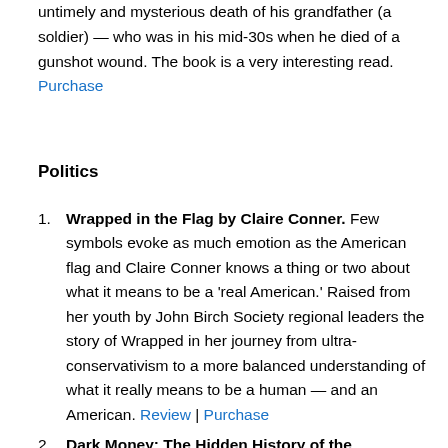untimely and mysterious death of his grandfather (a soldier) — who was in his mid-30s when he died of a gunshot wound. The book is a very interesting read. Purchase
Politics
Wrapped in the Flag by Claire Conner. Few symbols evoke as much emotion as the American flag and Claire Conner knows a thing or two about what it means to be a 'real American.' Raised from her youth by John Birch Society regional leaders the story of Wrapped in her journey from ultra-conservativism to a more balanced understanding of what it really means to be a human — and an American. Review | Purchase
Dark Money: The Hidden History of the Billionaires Behind the Rise of the Radical by Jane Mayer. If